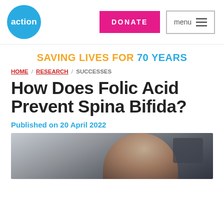[Figure (logo): Action Medical Research circular blue logo with white text 'action']
DONATE
menu
SAVING LIVES FOR 70 YEARS
HOME / RESEARCH / SUCCESSES
How Does Folic Acid Prevent Spina Bifida?
Published on 20 April 2022
[Figure (photo): A woman looking upward, appears to be in a medical or clinical setting, dark background]